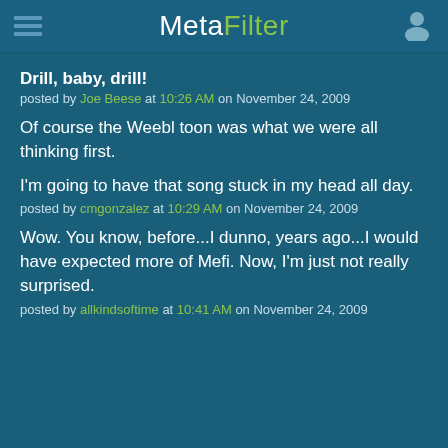MetaFilter
Drill, baby, drill!
posted by Joe Beese at 10:26 AM on November 24, 2009
Of course the Weebl toon was what we were all thinking first.
I'm going to have that song stuck in my head all day.
posted by cmgonzalez at 10:29 AM on November 24, 2009
Wow. You know, before...I dunno, years ago...I would have expected more of Mefi. Now, I'm just not really surprised.
posted by allkindsoftime at 10:41 AM on November 24, 2009